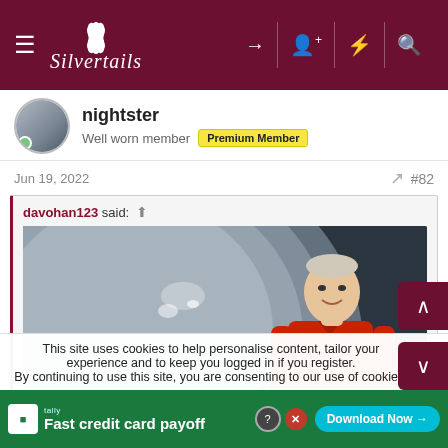Silvertails
nightster
Well worn member  Premium Member
Jun 19, 2022   #82
davohan123 said: ↑
[Figure (photo): A man in a red shirt standing in front of a large curved metallic or stone surface, possibly a cymbal or sculpture, in a dark studio environment.]
This site uses cookies to help personalise content, tailor your experience and to keep you logged in if you register.
By continuing to use this site, you are consenting to our use of cookies.
Fast credit card payoff  Download Now →